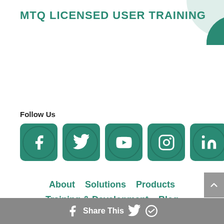MTQ LICENSED USER TRAINING
Follow Us
[Figure (infographic): Five teal rounded-square social media icon buttons: Facebook, Twitter, YouTube, Instagram, LinkedIn]
About   Solutions   Products   Training & Development   Blog   Contact   Terms and Conditions   Downloads   Log in
Share This